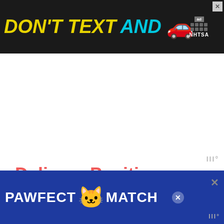[Figure (other): NHTSA advertisement banner: 'DON'T TEXT AND' with a red car emoji, ad badge and NHTSA logo on dark background, with close X button]
[Figure (other): Small weather/temperature widget icon showing 'III°' in grey]
Delivery Positions
Mid...
[Figure (other): PAWFECT MATCH advertisement banner with cat emoji on dark blue background, with close X button and grey X icon on right]